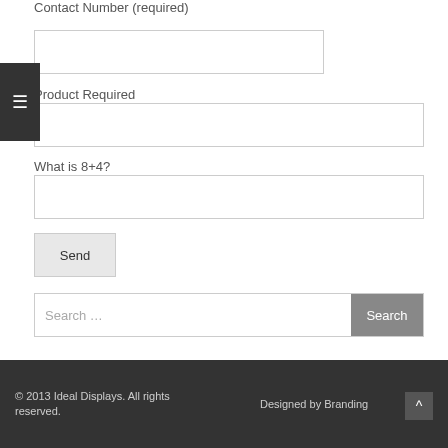Contact Number (required)
Product Required
What is 8+4?
Send
Search …
© 2013 Ideal Displays. All rights reserved.   Designed by Branding